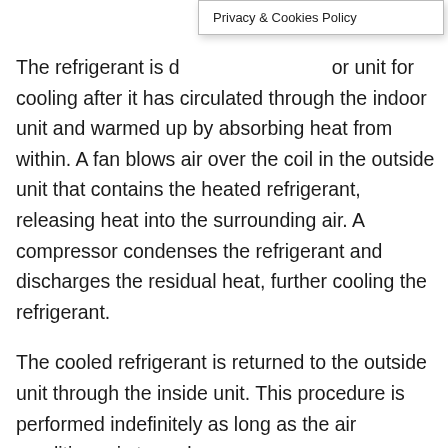Privacy & Cookies Policy
The refrigerant is discharged to the outdoor unit for cooling after it has circulated through the indoor unit and warmed up by absorbing heat from within. A fan blows air over the coil in the outside unit that contains the heated refrigerant, releasing heat into the surrounding air. A compressor condenses the refrigerant and discharges the residual heat, further cooling the refrigerant.
The cooled refrigerant is returned to the outside unit through the inside unit. This procedure is performed indefinitely as long as the air conditioner is turned on.